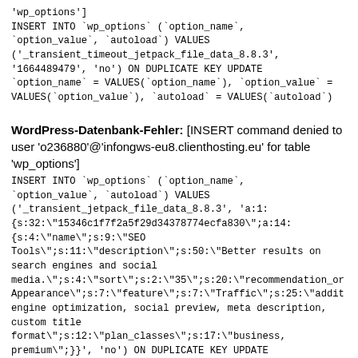'wp_options']
INSERT INTO `wp_options` (`option_name`, `option_value`, `autoload`) VALUES ('_transient_timeout_jetpack_file_data_8.8.3', '1664489479', 'no') ON DUPLICATE KEY UPDATE `option_name` = VALUES(`option_name`), `option_value` = VALUES(`option_value`), `autoload` = VALUES(`autoload`)
WordPress-Datenbank-Fehler: [INSERT command denied to user 'o236880'@'infongws-eu8.clienthosting.eu' for table 'wp_options']
INSERT INTO `wp_options` (`option_name`, `option_value`, `autoload`) VALUES ('_transient_jetpack_file_data_8.8.3', 'a:1:{s:32:"15346c1f7f2a5f29d34378774ecfa830";a:14:{s:4:"name";s:9:"SEO Tools";s:11:"description";s:50:"Better results on search engines and social media.";s:4:"sort";s:2:"35";s:20:"recommendation_or...Appearance";s:7:"feature";s:7:"Traffic";s:25:"addit...engine optimization, social preview, meta description, custom title format";s:12:"plan_classes";s:17:"business, premium";}}', 'no') ON DUPLICATE KEY UPDATE `option_name` = VALUES(`option_name`), `option_value` = VALUES(`option_value`), `autoload` = VALUES(`autoload`)
WordPress-Datenbank-Fehler: [INSERT command denied to user 'o236880'@'infongws-eu8.clienthosting.eu' for table